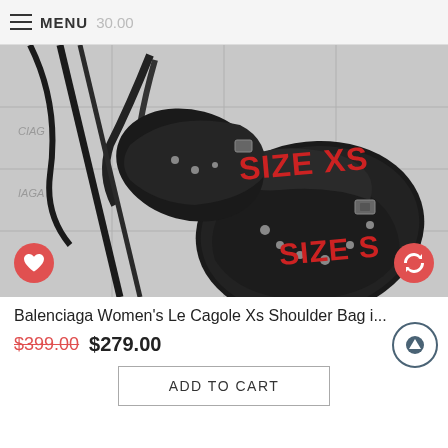MENU
[Figure (photo): Black Balenciaga leather shoulder bags displayed on a tiled surface with Balenciaga branding. Two bags shown with red text overlays: 'SIZE XS' and 'SIZE S'. Heart and refresh buttons visible at bottom corners.]
Balenciaga Women's Le Cagole Xs Shoulder Bag i...
$399.00  $279.00
ADD TO CART